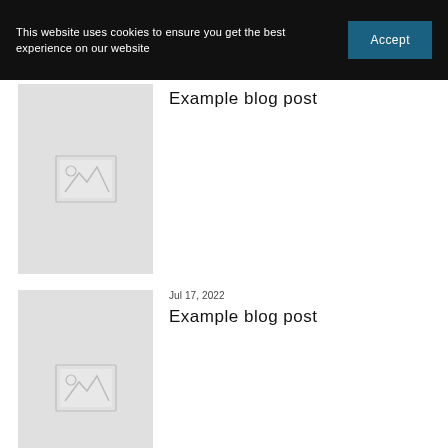This website uses cookies to ensure you get the best experience on our website  Accept
Example blog post
[Figure (photo): Placeholder image thumbnail for first blog post (partially visible behind cookie banner)]
Jul 17, 2022
Example blog post
[Figure (photo): Placeholder image thumbnail for second blog post]